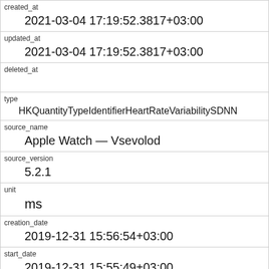| created_at | 2021-03-04 17:19:52.3817+03:00 |
| updated_at | 2021-03-04 17:19:52.3817+03:00 |
| deleted_at |  |
| type | HKQuantityTypeIdentifierHeartRateVariabilitySDNN |
| source_name | Apple Watch — Vsevolod |
| source_version | 5.2.1 |
| unit | ms |
| creation_date | 2019-12-31 15:56:54+03:00 |
| start_date | 2019-12-31 15:55:49+03:00 |
| end_date | 2019-12-31 15:56:54+03:00 |
| value |  |